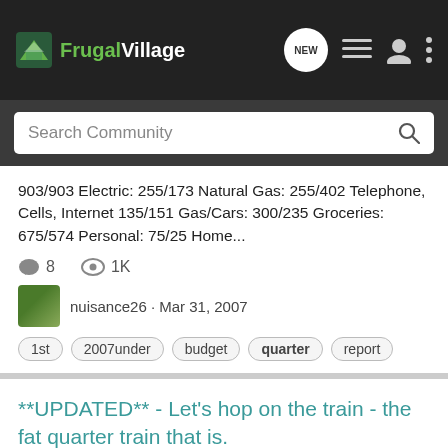FrugalVillage
Search Community
903/903 Electric: 255/173 Natural Gas: 255/402 Telephone, Cells, Internet 135/151 Gas/Cars: 300/235 Groceries: 675/574 Personal: 75/25 Home...
8  1K
nuisance26 · Mar 31, 2007
1st  2007under  budget  quarter  report
**UPDATED** - Let's hop on the train - the fat quarter train that is.
Quilting
We haven't had one of these in a very long time. Michelle has asked if I could start one, so here you are. You MUST belong to the quilting club to take part. Here are the rules for